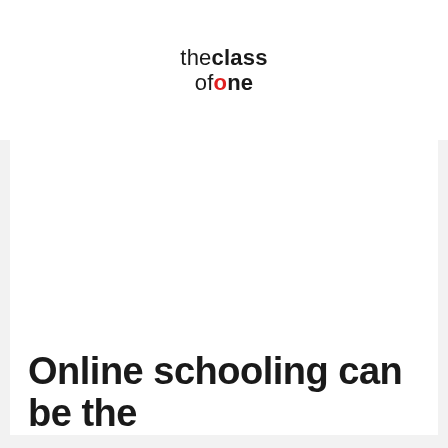[Figure (logo): The Class of One logo: 'the' in regular weight, 'class' in bold black, 'of' in regular weight black, 'one' in bold with red 'o' and black 'ne', stacked two lines]
Online schooling can be the